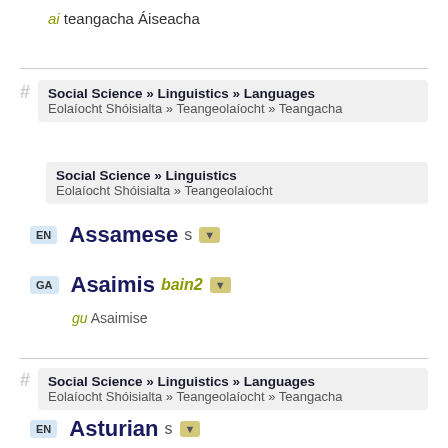ai teangacha Áiseacha
Social Science » Linguistics » Languages / Eolaíocht Shóisialta » Teangeolaíocht » Teangacha
Social Science » Linguistics / Eolaíocht Shóisialta » Teangeolaíocht
EN Assamese s ▼
GA Asaimis bain2 ▼
gu Asaimise
Social Science » Linguistics » Languages / Eolaíocht Shóisialta » Teangeolaíocht » Teangacha
EN Asturian s ▼